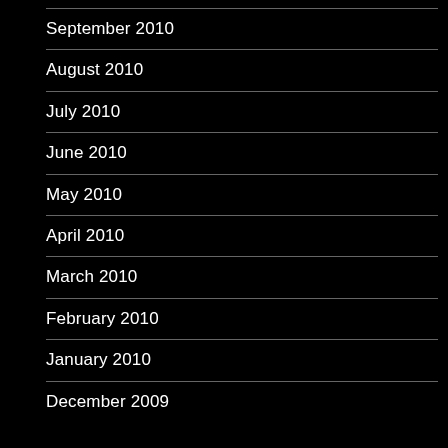September 2010
August 2010
July 2010
June 2010
May 2010
April 2010
March 2010
February 2010
January 2010
December 2009